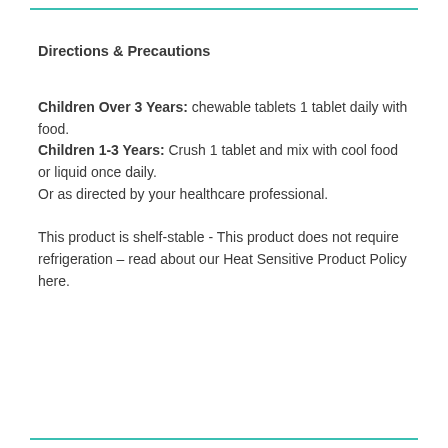Directions & Precautions
Children Over 3 Years: chewable tablets 1 tablet daily with food.
Children 1-3 Years: Crush 1 tablet and mix with cool food or liquid once daily.
Or as directed by your healthcare professional.
This product is shelf-stable - This product does not require refrigeration – read about our Heat Sensitive Product Policy here.